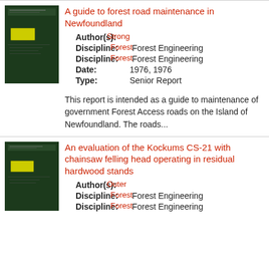[Figure (photo): Dark green book cover thumbnail for forest road maintenance guide]
A guide to forest road maintenance in Newfoundland
Author(s): Strong
Discipline: Forest Engineering
Discipline: Forest Engineering
Date: 1976, 1976
Type: Senior Report
This report is intended as a guide to maintenance of government Forest Access roads on the Island of Newfoundland. The roads...
[Figure (photo): Dark green book cover thumbnail for Kockums CS-21 evaluation]
An evaluation of the Kockums CS-21 with chainsaw felling head operating in residual hardwood stands
Author(s): Outer
Discipline: Forest Engineering
Discipline: Forest Engineering